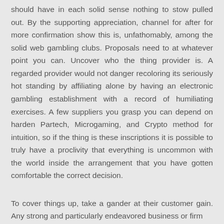should have in each solid sense nothing to stow pulled out. By the supporting appreciation, channel for after for more confirmation show this is, unfathomably, among the solid web gambling clubs. Proposals need to at whatever point you can. Uncover who the thing provider is. A regarded provider would not danger recoloring its seriously hot standing by affiliating alone by having an electronic gambling establishment with a record of humiliating exercises. A few suppliers you grasp you can depend on harden Partech, Microgaming, and Crypto method for intuition, so if the thing is these inscriptions it is possible to truly have a proclivity that everything is uncommon with the world inside the arrangement that you have gotten comfortable the correct decision.
To cover things up, take a gander at their customer gain. Any strong and particularly endeavored business or firm